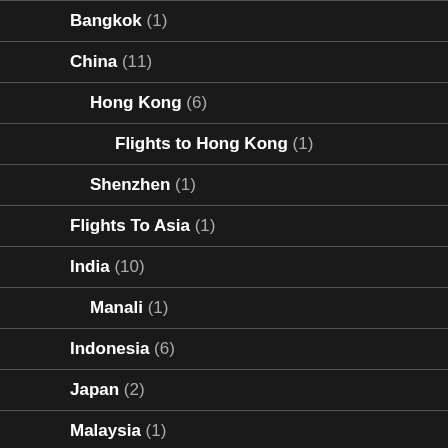Bangkok (1)
China (11)
Hong Kong (6)
Flights to Hong Kong (1)
Shenzhen (1)
Flights To Asia (1)
India (10)
Manali (1)
Indonesia (6)
Japan (2)
Malaysia (1)
Maldives (1)